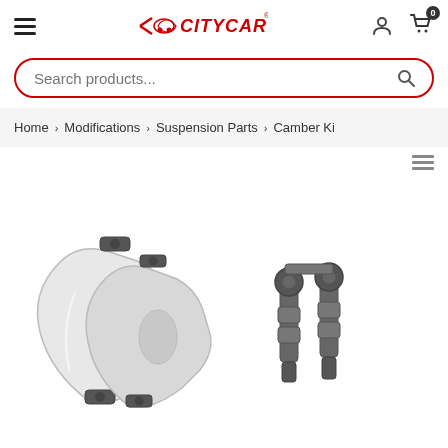[Figure (screenshot): CityCAR website header with hamburger menu, logo, user icon, and cart icon showing 0 items]
Search products...
Home > Modifications > Suspension Parts > Camber Ki
[Figure (photo): Car suspension camber kit parts: white adjustable control arms on left, dark bolts and hardware on right]